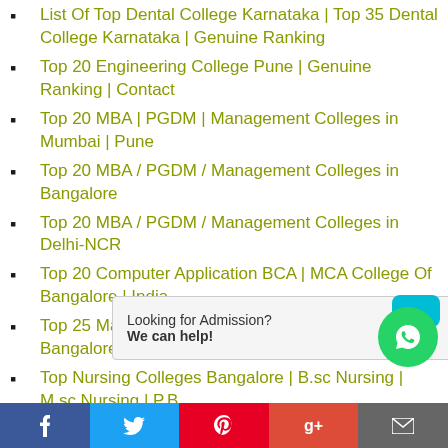List Of Top Dental College Karnataka | Top 35 Dental College Karnataka | Genuine Ranking
Top 20 Engineering College Pune | Genuine Ranking | Contact
Top 20 MBA | PGDM | Management Colleges in Mumbai | Pune
Top 20 MBA / PGDM / Management Colleges in Bangalore
Top 20 MBA / PGDM / Management Colleges in Delhi-NCR
Top 20 Computer Application BCA | MCA College Of Bangalore | India
Top 25 Management College | BBA | BBM | BMS in Bangalore
Top Nursing Colleges Bangalore | B.sc Nursing | M.sc Nursing | P.B...
Top Law College Pu... ...B...
Looking for Admission? We can help!
Facebook | Twitter | Pinterest | Google+ | Email